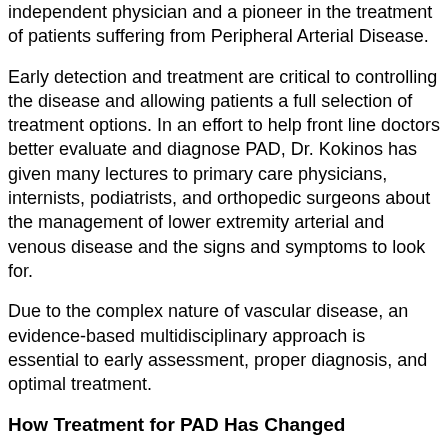independent physician and a pioneer in the treatment of patients suffering from Peripheral Arterial Disease.
Early detection and treatment are critical to controlling the disease and allowing patients a full selection of treatment options. In an effort to help front line doctors better evaluate and diagnose PAD, Dr. Kokinos has given many lectures to primary care physicians, internists, podiatrists, and orthopedic surgeons about the management of lower extremity arterial and venous disease and the signs and symptoms to look for.
Due to the complex nature of vascular disease, an evidence-based multidisciplinary approach is essential to early assessment, proper diagnosis, and optimal treatment.
How Treatment for PAD Has Changed
Over the past 15 years, the interventional treatment of peripheral arterial disease (PAD) has changed significantly. Minimally invasive endovascular procedures have replaced...